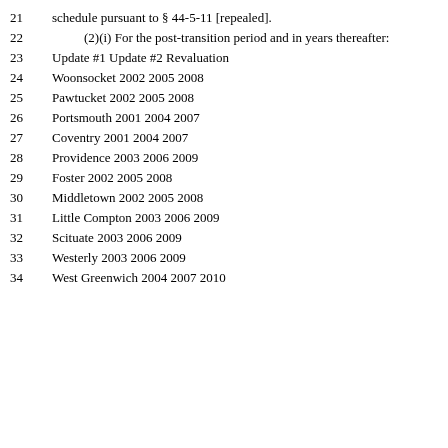21    schedule pursuant to § 44-5-11 [repealed].
22        (2)(i) For the post-transition period and in years thereafter:
23    Update #1 Update #2 Revaluation
24    Woonsocket 2002 2005 2008
25    Pawtucket 2002 2005 2008
26    Portsmouth 2001 2004 2007
27    Coventry 2001 2004 2007
28    Providence 2003 2006 2009
29    Foster 2002 2005 2008
30    Middletown 2002 2005 2008
31    Little Compton 2003 2006 2009
32    Scituate 2003 2006 2009
33    Westerly 2003 2006 2009
34    West Greenwich 2004 2007 2010